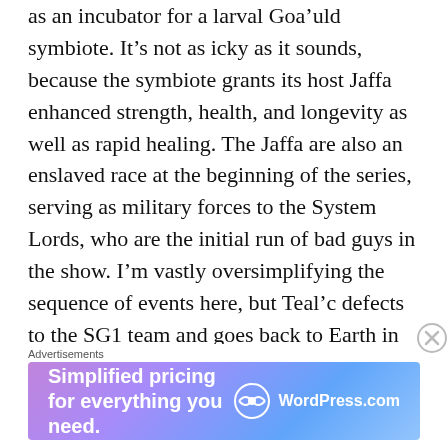as an incubator for a larval Goa'uld symbiote.  It's not as icky as it sounds, because the symbiote grants its host Jaffa enhanced strength, health, and longevity as well as rapid healing.  The Jaffa are also an enslaved race at the beginning of the series, serving as military forces to the System Lords, who are the initial run of bad guys in the show.  I'm vastly oversimplifying the sequence of events here, but Teal'c defects to the SG1 team and goes back to Earth in the pilot episode of the series.    He becomes a valuable member of the team, and he even tries to live outside of Stargate Command in a regular apartment at one point in the series.  Naturally, he wears a hat to cover up the gold
Advertisements
[Figure (other): WordPress.com advertisement banner with gradient purple-to-blue background. Text reads 'Simplified pricing for everything you need.' with WordPress.com logo on the right.]